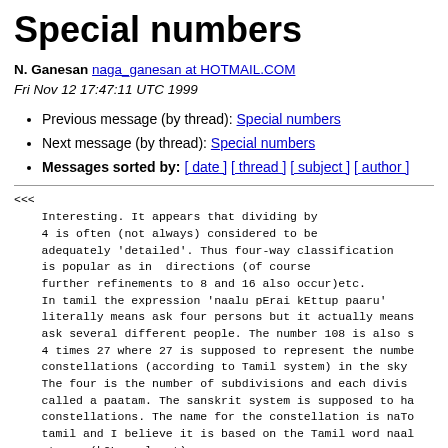Special numbers
N. Ganesan naga_ganesan at HOTMAIL.COM
Fri Nov 12 17:47:11 UTC 1999
Previous message (by thread): Special numbers
Next message (by thread): Special numbers
Messages sorted by: [ date ] [ thread ] [ subject ] [ author ]
<<<
    Interesting. It appears that dividing by
    4 is often (not always) considered to be
    adequately 'detailed'. Thus four-way classification
    is popular as in  directions (of course
    further refinements to 8 and 16 also occur)etc.
    In tamil the expression 'naalu pErai kEttup paaru'
    literally means ask four persons but it actually means
    ask several different people. The number 108 is also s
    4 times 27 where 27 is supposed to represent the numbe
    constellations (according to Tamil system) in the sky
    The four is the number of subdivisions and each divis
    called a paatam. The sanskrit system is supposed to ha
    constellations. The name for the constellation is naTo
    tamil and I believe it is based on the Tamil word naal
    star.  (kOL = planet)